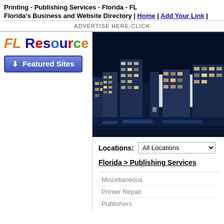Printing - Publishing Services - Florida - FL
Florida's Business and Website Directory | Home | Add Your Link |
ADVERTISE HERE-CLICK
[Figure (logo): FL Resource logo with colorful letters and Featured Sites button]
[Figure (photo): Nighttime cityscape of a Florida city with illuminated skyscrapers]
Locations: All Locations
Florida > Publishing Services
Miscellaneous
Printer Repair
Publishers